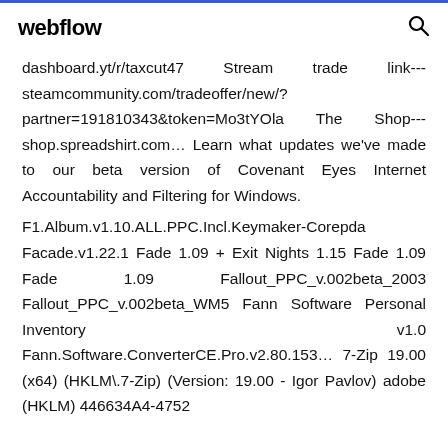webflow
dashboard.yt/r/taxcut47 Stream trade link---steamcommunity.com/tradeoffer/new/?partner=191810343&token=Mo3tYOla The Shop---shop.spreadshirt.com… Learn what updates we've made to our beta version of Covenant Eyes Internet Accountability and Filtering for Windows.
F1.Album.v1.10.ALL.PPC.Incl.Keymaker-Corepda Facade.v1.22.1 Fade 1.09 + Exit Nights 1.15 Fade 1.09 Fade 1.09 Fallout_PPC_v.002beta_2003 Fallout_PPC_v.002beta_WM5 Fann Software Personal Inventory v1.0 Fann.Software.ConverterCE.Pro.v2.80.153… 7-Zip 19.00 (x64) (HKLM\.7-Zip) (Version: 19.00 - Igor Pavlov) adobe (HKLM) 446634A4-4752...